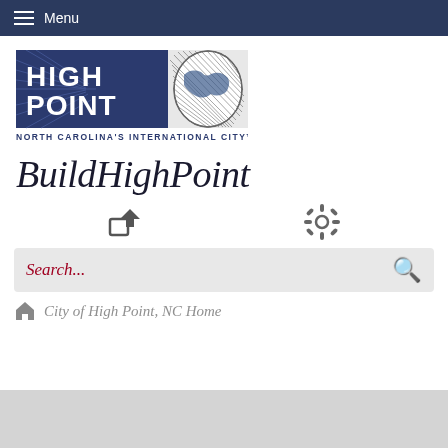Menu
[Figure (logo): High Point North Carolina's International City logo — blue rectangle with HIGH POINT text and globe graphic, with tagline NORTH CAROLINA'S INTERNATIONAL CITY™]
BuildHighPoint
[Figure (infographic): Share icon (box with arrow) and settings/gear icon]
Search...
City of High Point, NC Home